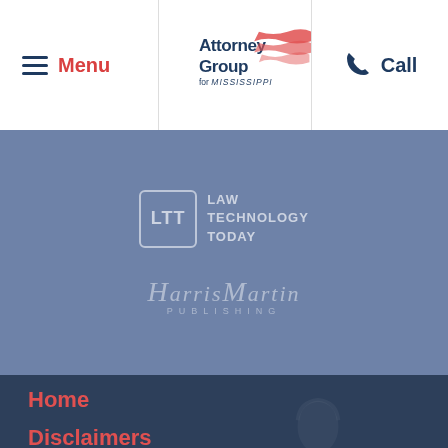[Figure (logo): Three horizontal lines hamburger menu icon with 'Menu' text in red]
[Figure (logo): Attorney Group for Mississippi logo with American flag graphic]
[Figure (logo): Phone icon with 'Call' text in dark blue]
[Figure (logo): LTT Law Technology Today logo on blue background]
[Figure (logo): HarrisMartin Publishing logo on blue background]
Home
Disclaimers
Sitemap
Contact